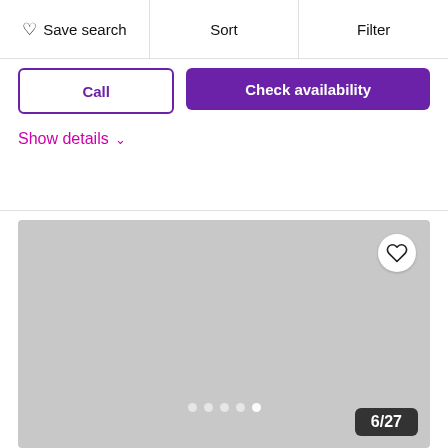Save search | Sort | Filter
Call
Check availability
Show details ∨
[Figure (photo): Large gray placeholder photo area with pagination dots (5 dots) and photo counter badge showing 6/27, plus a heart/favorite button in top right corner]